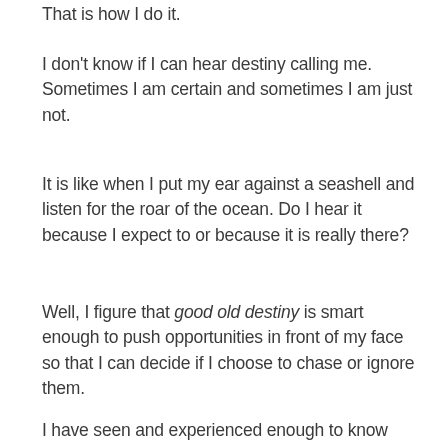That is how I do it.
I don't know if I can hear destiny calling me. Sometimes I am certain and sometimes I am just not.
It is like when I put my ear against a seashell and listen for the roar of the ocean. Do I hear it because I expect to or because it is really there?
Well, I figure that good old destiny is smart enough to push opportunities in front of my face so that I can decide if I choose to chase or ignore them.
I have seen and experienced enough to know